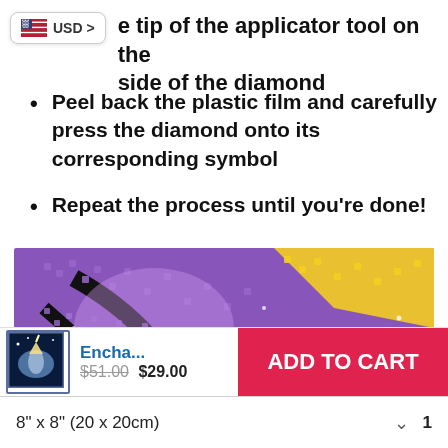tip of the applicator tool on the side of the diamond
Peel back the plastic film and carefully press the diamond onto its corresponding symbol
Repeat the process until you're done!
[Figure (photo): Close-up photo of a diamond painting showing colorful diamond gems placed on canvas in purple, yellow, orange and blue colors]
[Figure (photo): Small product thumbnail of an enchanted unicorn diamond painting]
Encha... $51.00 $29.00
ADD TO CART
8" x 8" (20 x 20cm)  1